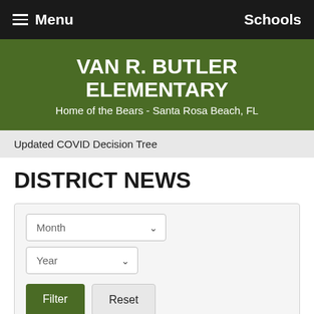Menu   Schools
VAN R. BUTLER ELEMENTARY
Home of the Bears - Santa Rosa Beach, FL
Updated COVID Decision Tree
DISTRICT NEWS
[Figure (screenshot): Filter form with Month dropdown, Year dropdown, Filter button, and Reset button]
Tell Me Something Good...